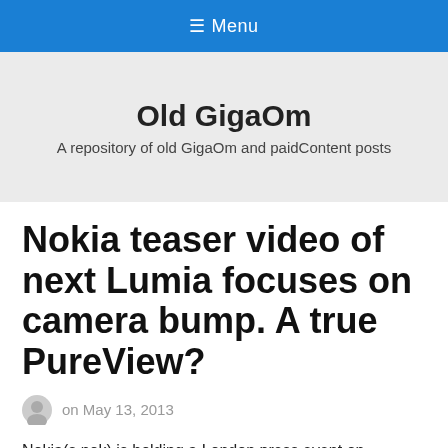≡ Menu
Old GigaOm
A repository of old GigaOm and paidContent posts
Nokia teaser video of next Lumia focuses on camera bump. A true PureView?
on May 13, 2013
Nokia(s nok) is holding a London press event on Tuesday